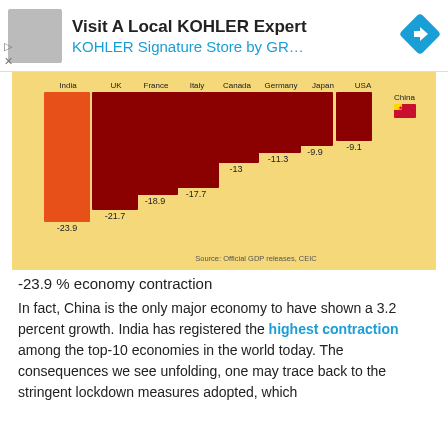[Figure (other): Advertisement banner: Visit A Local KOHLER Expert - KOHLER Signature Store by GR...]
[Figure (bar-chart): GDP contraction comparison]
Source: Official GDP releases, CEIC
-23.9 % economy contraction
In fact, China is the only major economy to have shown a 3.2 percent growth. India has registered the highest contraction among the top-10 economies in the world today. The consequences we see unfolding, one may trace back to the stringent lockdown measures adopted, which